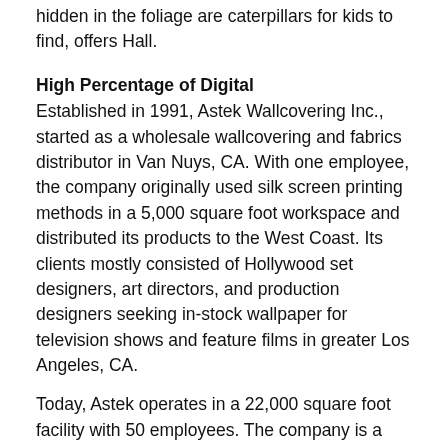hidden in the foliage are caterpillars for kids to find,  offers Hall.
High Percentage of Digital
Established in 1991, Astek Wallcovering Inc., started as a wholesale wallcovering and fabrics distributor in Van Nuys, CA. With one employee, the company originally used silk screen printing methods in a 5,000 square foot workspace and distributed its products to the West Coast. Its clients mostly consisted of Hollywood set designers, art directors, and production designers seeking in-stock wallpaper for television shows and feature films in greater Los Angeles, CA.
Today, Astek operates in a 22,000 square foot facility with 50 employees. The company is a wallcovering manufacturer that sells directly to designer and retail locations. “We still sell Sherwin Williams nationally including many smaller retailers. But now we cater to architectural and design communities,” says Aaron Kirsch, president, Astek.